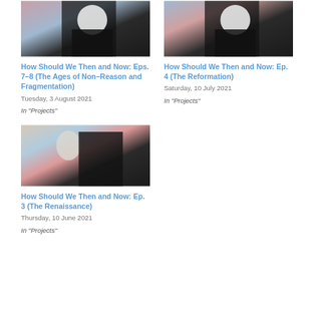[Figure (photo): Black and white photo with colorful background - How Should We Then and Now Eps 7-8]
How Should We Then and Now: Eps. 7–8 (The Ages of Non–Reason and Fragmentation)
Tuesday, 3 August 2021
In "Projects"
[Figure (photo): Black and white photo with colorful background - How Should We Then and Now Ep. 4]
How Should We Then and Now: Ep. 4 (The Reformation)
Saturday, 10 July 2021
In "Projects"
[Figure (photo): Black and white photo with colorful background - How Should We Then and Now Ep. 3]
How Should We Then and Now: Ep. 3 (The Renaissance)
Thursday, 10 June 2021
In "Projects"